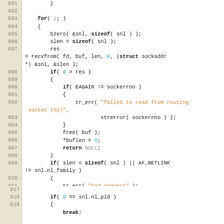[Figure (screenshot): Source code listing lines 891-919 in C, showing a for loop with recvfrom, error handling, and netlink socket address checking.]